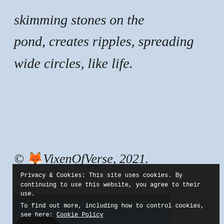skimming stones on the pond, creates ripples, spreading wide circles, like life.
© 🦊 VixenOfVerse, 2021.
[Figure (photo): Photograph of a pond or lake with water reflections and green trees/foliage visible along the top edge, with a dark silhouette of a person at the bottom.]
Privacy & Cookies: This site uses cookies. By continuing to use this website, you agree to their use.
To find out more, including how to control cookies, see here: Cookie Policy
Close and accept